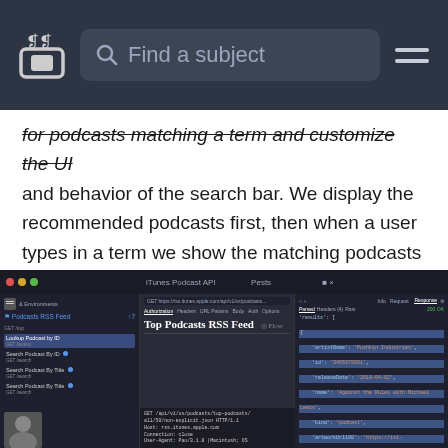[Figure (screenshot): Navigation bar with logo, search box labeled 'Find a subject', and hamburger menu on dark background]
for podcasts matching a term and customize the UI and behavior of the search bar. We display the recommended podcasts first, then when a user types in a term we show the matching podcasts from the iTunes API.
[Figure (screenshot): Screenshot of a developer tool showing an API request panel on the left with endpoints like 'Top Podcasts RSS Feed', a middle panel with HTTP request details, and a right panel showing JSON response with podcast data including artistName 'Pushkin Industries', id '3455370351', releaseDate '2019-04-02', name 'Against the Rules with Michael Lewis', kind 'podcast', artworkUrl100, and genres with genreId 1324 'Society & Culture' and genreId 26 'Podcasts'. Badge #387 visible.]